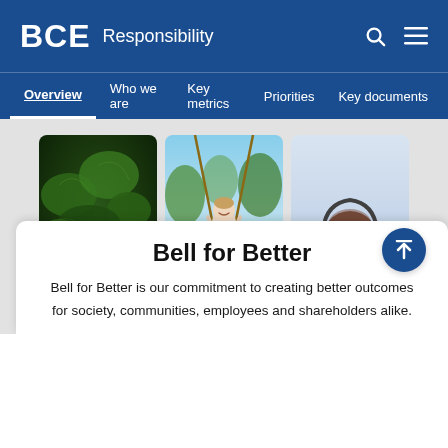BCE Responsibility
Overview | Who we are | Key metrics | Priorities | Key documents
[Figure (photo): Three rounded vertical photos side by side: aerial view of green trees/forest, young girl on a rope swing in a park, and a smiling man wearing glasses and a headset.]
Bell for Better
Bell for Better is our commitment to creating better outcomes for society, communities, employees and shareholders alike.